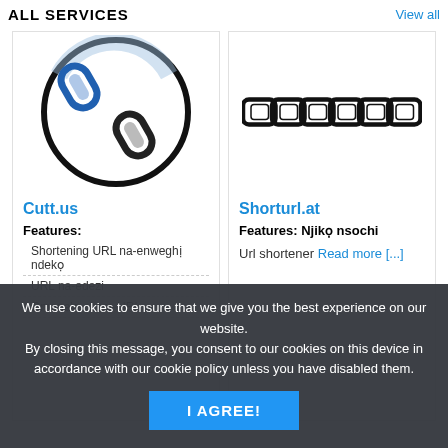ALL SERVICES
View all
[Figure (illustration): A circular chain link icon with blue metallic shading, two interlocked chain links inside a circle outline.]
Cutt.us
Features:
Shortening URL na-enweghị ndekọ
URL na-edezi
Omenala obere URL
[Figure (illustration): A horizontal chain composed of several flat rectangular chain links in black, on white background.]
Shorturl.at
Features: Njikọ nsochi
Url shortener Read more [...]
We use cookies to ensure that we give you the best experience on our website. By closing this message, you consent to our cookies on this device in accordance with our cookie policy unless you have disabled them.
I AGREE!